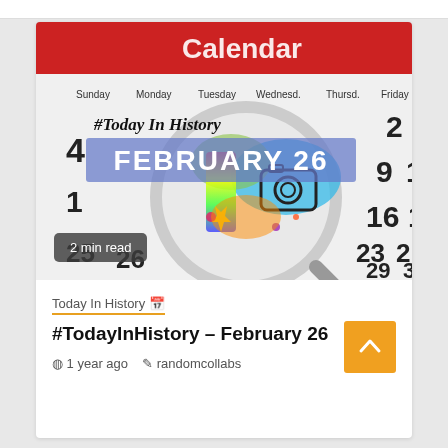[Figure (photo): Calendar background image with magnifying glass overlay showing colorful art/camera illustration. Text '#Today In History' and 'FEBRUARY 26' overlaid on image.]
2 min read
Today In History 📅
#TodayInHistory – February 26
1 year ago   randomcollabs